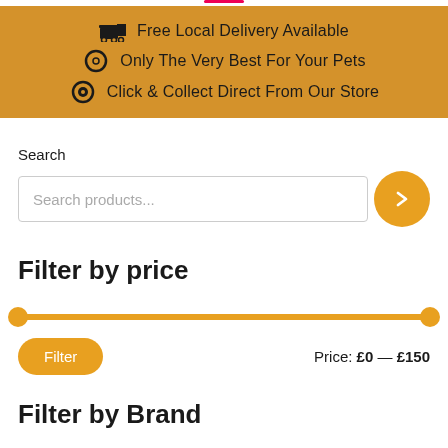🚚 Free Local Delivery Available
○ Only The Very Best For Your Pets
⊙ Click & Collect Direct From Our Store
Search
Search products...
Filter by price
Price: £0 — £150
Filter by Brand